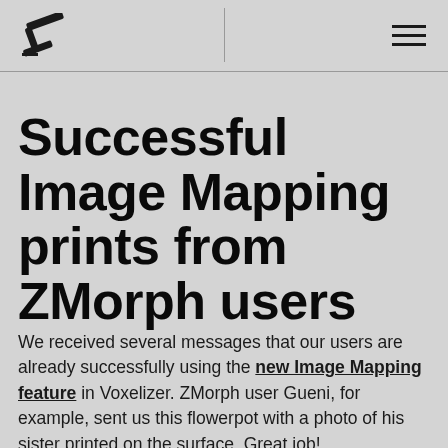ZMorph logo and navigation menu
Successful Image Mapping prints from ZMorph users
We received several messages that our users are already successfully using the new Image Mapping feature in Voxelizer. ZMorph user Gueni, for example, sent us this flowerpot with a photo of his sister printed on the surface. Great job!